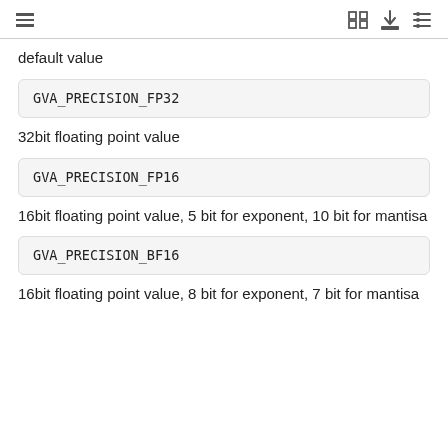default value
GVA_PRECISION_FP32
32bit floating point value
GVA_PRECISION_FP16
16bit floating point value, 5 bit for exponent, 10 bit for mantisa
GVA_PRECISION_BF16
16bit floating point value, 8 bit for exponent, 7 bit for mantisa